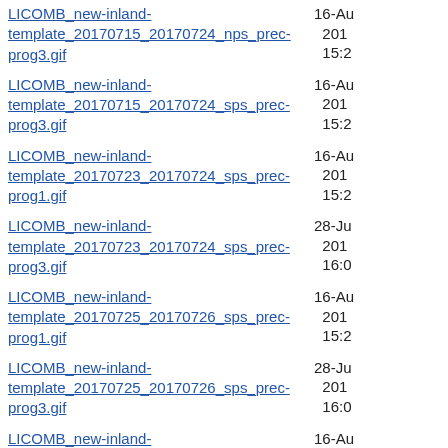LICOMB_new-inland-template_20170715_20170724_nps_prec-prog3.gif
16-Au 201 15:2
LICOMB_new-inland-template_20170715_20170724_sps_prec-prog3.gif
16-Au 201 15:2
LICOMB_new-inland-template_20170723_20170724_sps_prec-prog1.gif
16-Au 201 15:2
LICOMB_new-inland-template_20170723_20170724_sps_prec-prog3.gif
28-Ju 201 16:0
LICOMB_new-inland-template_20170725_20170726_sps_prec-prog1.gif
16-Au 201 15:2
LICOMB_new-inland-template_20170725_20170726_sps_prec-prog3.gif
28-Ju 201 16:0
LICOMB_new-inland-template_20170725_20170803_nps_prec-prog3.gif
16-Au 201 15:2
LICOMB_new-inland-template_20170725_20170803_sps_prec-prog3.gif
16-Au 201 15:2